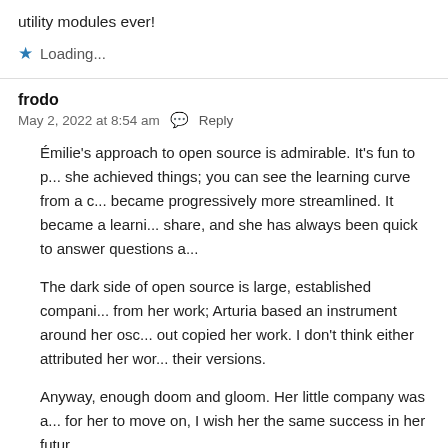utility modules ever!
★ Loading...
frodo
May 2, 2022 at 8:54 am  💬 Reply
Émilie's approach to open source is admirable. It's fun to p... she achieved things; you can see the learning curve from a c... became progressively more streamlined. It became a learni... share, and she has always been quick to answer questions a...
The dark side of open source is large, established compani... from her work; Arturia based an instrument around her osc... out copied her work. I don't think either attributed her wor... their versions.
Anyway, enough doom and gloom. Her little company was a... for her to move on, I wish her the same success in her futur...